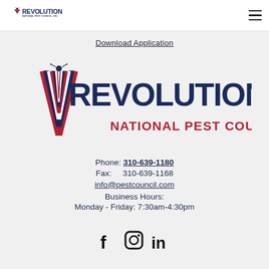Revolution National Pest Council, Inc. — logo and navigation
Download Application
[Figure (logo): Revolution National Pest Council, Inc. large logo with chevron emblem in red, white, blue]
Phone: 310-639-1180
Fax:      310-639-1168
info@pestcouncil.com
Business Hours:
Monday - Friday: 7:30am-4:30pm
[Figure (illustration): Social media icons: Facebook, Instagram, LinkedIn]